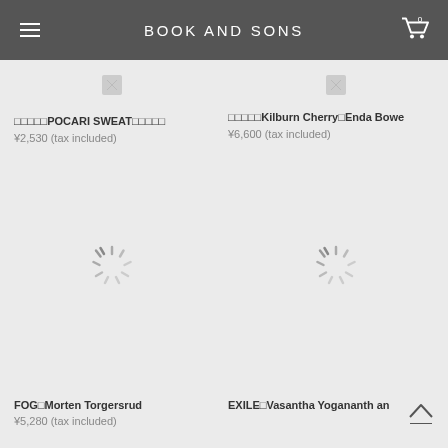BOOK AND SONS
[Figure (screenshot): E-commerce product grid showing 4 book products. Top row: '□□□□□POCARI SWEAT□□□□□' priced at ¥2,530 (tax included), and '□□□□□Kilburn Cherry□Enda Bowe' priced at ¥6,600 (tax included). Bottom row: 'FOG□Morten Torgersrud' priced at ¥5,280 (tax included), and 'EXILE□Vasantha Yogananth an'. Both bottom products show loading spinners instead of images.]
□□□□□POCARI SWEAT□□□□□
¥2,530 (tax included)
□□□□□Kilburn Cherry□Enda Bowe
¥6,600 (tax included)
FOG□Morten Torgersrud
¥5,280 (tax included)
EXILE□Vasantha Yogananth an